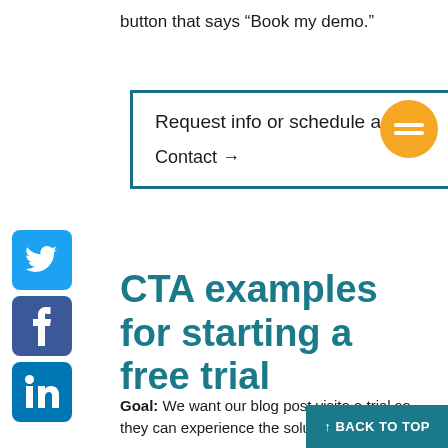button that says “Book my demo.”
Request info or schedule a demo
Contact →
[Figure (infographic): Orange circle with equals sign icon]
[Figure (infographic): Twitter bird icon in blue rounded square]
[Figure (infographic): Facebook f icon in dark blue rounded square]
[Figure (infographic): LinkedIn in icon in blue rounded square]
CTA examples for starting a free trial
Goal: We want our blog post visitors to start a trial so they can experience the solution